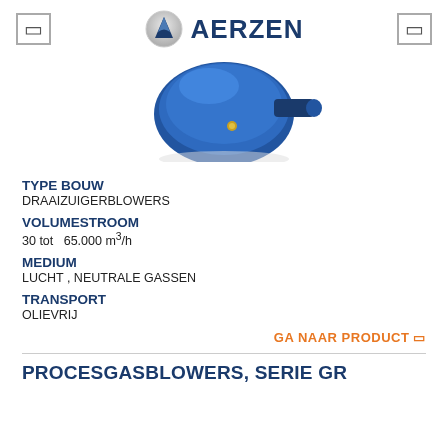AERZEN
[Figure (photo): Blue rotary lobe blower / draaizuigerblower product photo, partially visible from top]
TYPE BOUW
DRAAIZUIGERBLOWERS
VOLUMESTROOM
30 tot  65.000 m³/h
MEDIUM
LUCHT , NEUTRALE GASSEN
TRANSPORT
OLIEVRIJ
GA NAAR PRODUCT →
PROCESGASBLOWERS, SERIE GR